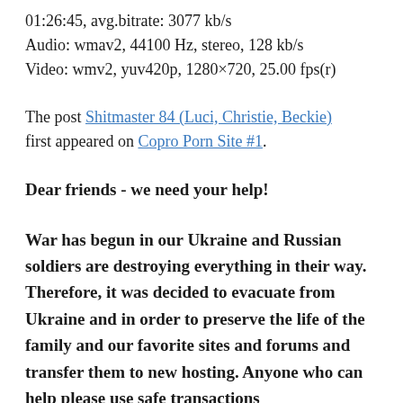01:26:45, avg.bitrate: 3077 kb/s
Audio: wmav2, 44100 Hz, stereo, 128 kb/s
Video: wmv2, yuv420p, 1280×720, 25.00 fps(r)
The post Shitmaster 84 (Luci, Christie, Beckie) first appeared on Copro Porn Site #1.
Dear friends - we need your help!
War has begun in our Ukraine and Russian soldiers are destroying everything in their way. Therefore, it was decided to evacuate from Ukraine and in order to preserve the life of the family and our favorite sites and forums and transfer them to new hosting. Anyone who can help please use safe transactions